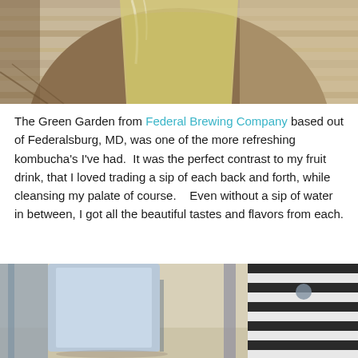[Figure (photo): Close-up photo of a pale yellow kombucha drink in a glass, sitting on a wooden surface with sunlight and shadows visible.]
The Green Garden from Federal Brewing Company based out of Federalsburg, MD, was one of the more refreshing kombucha's I've had.  It was the perfect contrast to my fruit drink, that I loved trading a sip of each back and forth, while cleansing my palate of course.    Even without a sip of water in between, I got all the beautiful tastes and flavors from each.
[Figure (photo): Photo showing a light blue/grey drink container or glass on a sandy/concrete surface, with a black and white striped pattern visible in the background.]